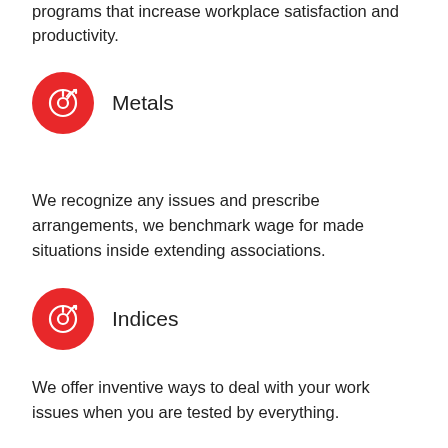programs that increase workplace satisfaction and productivity.
Metals
We recognize any issues and prescribe arrangements, we benchmark wage for made situations inside extending associations.
Indices
We offer inventive ways to deal with your work issues when you are tested by everything.